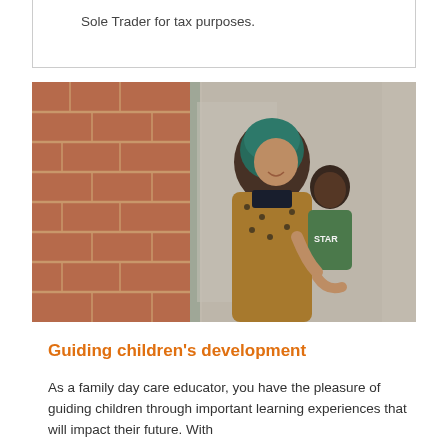Sole Trader for tax purposes.
[Figure (photo): A woman wearing a teal headscarf and floral/leopard print top stands in a doorway holding a young child wearing a green top that says STAR. The background shows a brick wall on the left and a hallway interior on the right.]
Guiding children's development
As a family day care educator, you have the pleasure of guiding children through important learning experiences that will impact their future. With